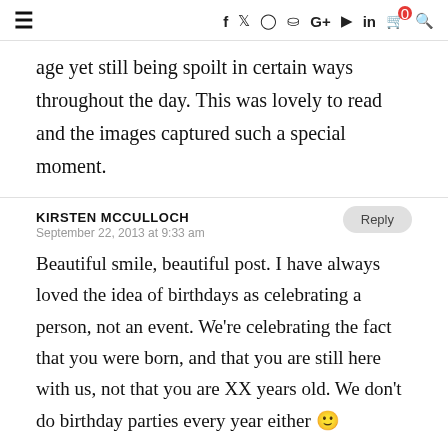≡  f  𝕎  ◎  𝗣  G+  ▶  in  🛒0  🔍
age yet still being spoilt in certain ways throughout the day. This was lovely to read and the images captured such a special moment.
KIRSTEN MCCULLOCH
September 22, 2013 at 9:33 am
Beautiful smile, beautiful post. I have always loved the idea of birthdays as celebrating a person, not an event. We're celebrating the fact that you were born, and that you are still here with us, not that you are XX years old. We don't do birthday parties every year either 🙂